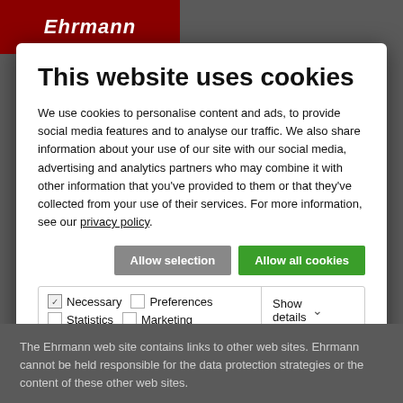[Figure (logo): Ehrmann brand logo in red/dark red background with italic white text]
This website uses cookies
We use cookies to personalise content and ads, to provide social media features and to analyse our traffic. We also share information about your use of our site with our social media, advertising and analytics partners who may combine it with other information that you've provided to them or that they've collected from your use of their services. For more information, see our privacy policy.
Allow selection | Allow all cookies
Necessary  Preferences  Statistics  Marketing  Show details
The Ehrmann web site contains links to other web sites. Ehrmann cannot be held responsible for the data protection strategies or the content of these other web sites.